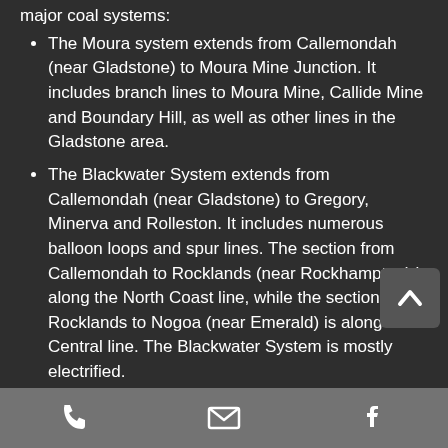major coal systems:
The Moura system extends from Callemondah (near Gladstone) to Moura Mine Junction. It includes branch lines to Moura Mine, Callide Mine and Boundary Hill, as well as other lines in the Gladstone area.
The Blackwater System extends from Callemondah (near Gladstone) to Gregory, Minerva and Rolleston. It includes numerous balloon loops and spur lines. The section from Callemondah to Rocklands (near Rockhampton) is along the North Coast line, while the section from Rocklands to Nogoa (near Emerald) is along the Central line. The Blackwater System is mostly electrified.
The Goonyella system extends from
Phone | Email | Facebook